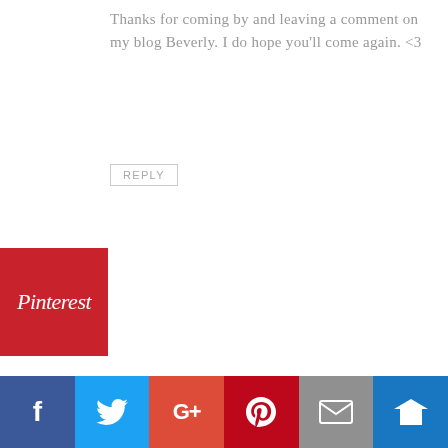Thanks for coming by and leaving a comment on my blog Beverly. I do hope you'll come again. <3
REPLY
[Figure (logo): Pinterest red badge logo]
Susan Shipe says
June 30, 2017 at 4:11 pm
[Figure (photo): Avatar photo of Susan Shipe, a woman with brown hair]
That Mr. OTN!!! What a guy.
REPLY
[Figure (infographic): Social sharing bar with Facebook, Twitter, Google+, Pinterest, Email, and Crown icons]